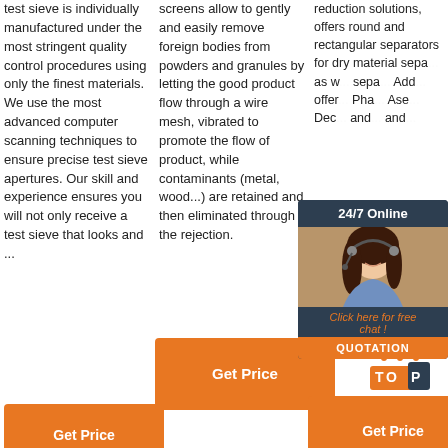test sieve is individually manufactured under the most stringent quality control procedures using only the finest materials. We use the most advanced computer scanning techniques to ensure precise test sieve apertures. Our skill and experience ensures you will not only receive a test sieve that looks and ...
screens allow to gently and easily remove foreign bodies from powders and granules by letting the good product flow through a wire mesh, vibrated to promote the flow of product, while contaminants (metal, wood...) are retained and then eliminated through the rejection.
reduction solutions, offers round and rectangular separators for dry material sepa... as w... sepa... Add... offer... Pha... Ase... Dec... and ... and ... multiple industries.
[Figure (infographic): 24/7 Online chat widget with woman wearing headset, dark blue background, orange QUOTATION button and 'Click here for free chat!' text]
[Figure (infographic): TOP arrow icon in orange and dark colors]
Get Price
Get Price
Get Price